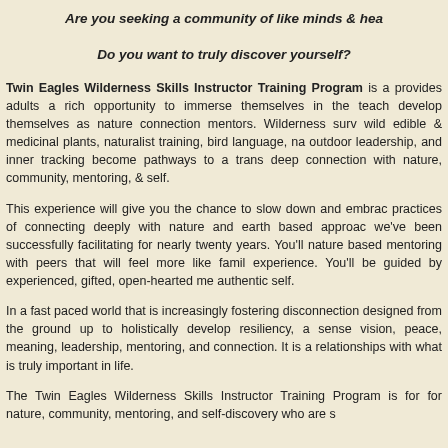Are you seeking a community of like minds & hea
Do you want to truly discover yourself?
Twin Eagles Wilderness Skills Instructor Training Program is a provides adults a rich opportunity to immerse themselves in the teach develop themselves as nature connection mentors. Wilderness surv wild edible & medicinal plants, naturalist training, bird language, na outdoor leadership, and inner tracking become pathways to a trans deep connection with nature, community, mentoring, & self.
This experience will give you the chance to slow down and embrac practices of connecting deeply with nature and earth based approac we've been successfully facilitating for nearly twenty years. You'll nature based mentoring with peers that will feel more like famil experience. You'll be guided by experienced, gifted, open-hearted me authentic self.
In a fast paced world that is increasingly fostering disconnection designed from the ground up to holistically develop resiliency, a sense vision, peace, meaning, leadership, mentoring, and connection. It is a relationships with what is truly important in life.
The Twin Eagles Wilderness Skills Instructor Training Program is for for nature, community, mentoring, and self-discovery who are s